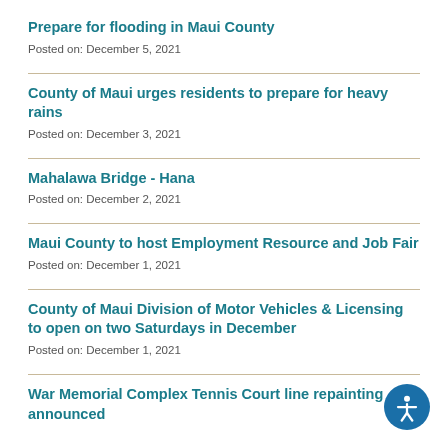Prepare for flooding in Maui County
Posted on: December 5, 2021
County of Maui urges residents to prepare for heavy rains
Posted on: December 3, 2021
Mahalawa Bridge - Hana
Posted on: December 2, 2021
Maui County to host Employment Resource and Job Fair
Posted on: December 1, 2021
County of Maui Division of Motor Vehicles & Licensing to open on two Saturdays in December
Posted on: December 1, 2021
War Memorial Complex Tennis Court line repainting announced